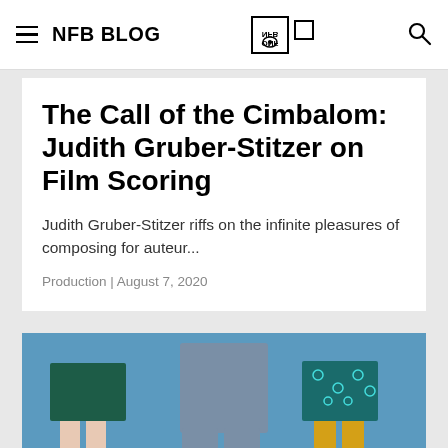NFB BLOG
The Call of the Cimbalom: Judith Gruber-Stitzer on Film Scoring
Judith Gruber-Stitzer riffs on the infinite pleasures of composing for auteur...
Production | August 7, 2020
[Figure (photo): Lower halves of three people standing against a blue wall: left person wearing a dark green skirt with bare legs and grey heels, middle person in jeans and grey boots, right person in a teal patterned skirt with yellow/mustard tights and heels.]